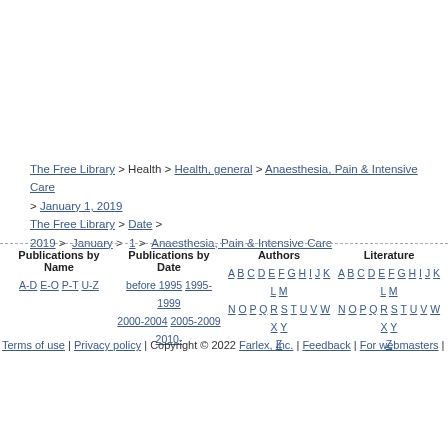The Free Library > Health > Health, general > Anaesthesia, Pain & Intensive Care > January 1, 2019 The Free Library > Date > 2019 > January > 1 > Anaesthesia, Pain & Intensive Care
Publications by Name A-D E-O P-T U-Z
Publications by Date before 1995 1995-1999 2000-2004 2005-2009 2010-
Authors A B C D E F G H I J K L M N O P Q R S T U V W X Y Z
Literature A B C D E F G H I J K L M N O P Q R S T U V W X Y Z
Terms of use | Privacy policy | Copyright © 2022 Farlex, Inc. | Feedback | For webmasters |